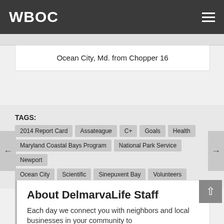WBOC
Ocean City, Md. from Chopper 16
TAGS: 2014 Report Card  Assateague  C+  Goals  Health  Maryland Coastal Bays Program  National Park Service  Newport  Ocean City  Scientific  Sinepuxent Bay  Volunteers
About DelmarvaLife Staff
Each day we connect you with neighbors and local businesses in your community to